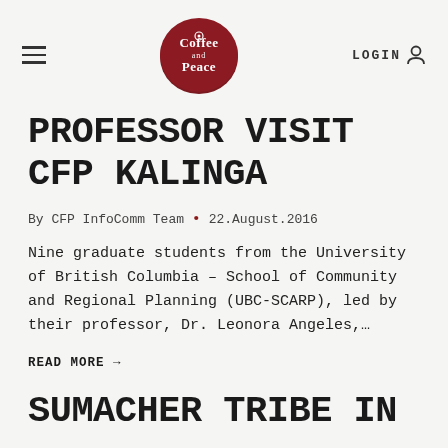Coffee and Peace logo, hamburger menu, LOGIN
PROFESSOR VISIT CFP KALINGA
By CFP InfoComm Team • 22.August.2016
Nine graduate students from the University of British Columbia – School of Community and Regional Planning (UBC-SCARP), led by their professor, Dr. Leonora Angeles,…
READ MORE →
SUMACHER TRIBE IN